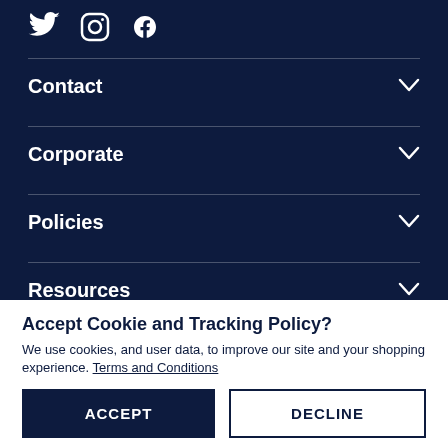[Figure (illustration): Social media icons: Twitter bird, Instagram camera, Facebook logo, displayed in white on dark navy background]
Contact
Corporate
Policies
Resources
Accept Cookie and Tracking Policy?
We use cookies, and user data, to improve our site and your shopping experience. Terms and Conditions
ACCEPT
DECLINE